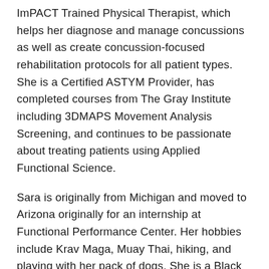ImPACT Trained Physical Therapist, which helps her diagnose and manage concussions as well as create concussion-focused rehabilitation protocols for all patient types.  She is a Certified ASTYM Provider, has completed courses from The Gray Institute including 3DMAPS Movement Analysis Screening, and continues to be passionate about treating patients using Applied Functional Science.
Sara is originally from Michigan and moved to Arizona originally for an internship at Functional Performance Center.  Her hobbies include Krav Maga, Muay Thai, hiking, and playing with her pack of dogs.  She is a Black Belt in Krav Maga and an instructor at East Valley Krav Maga.